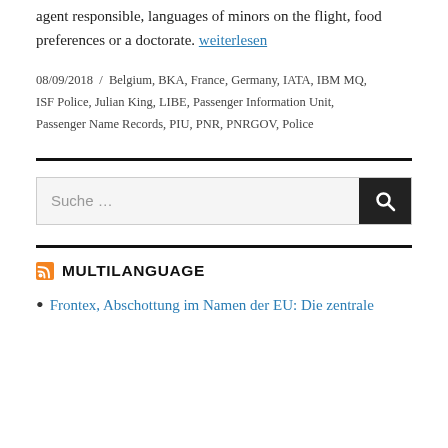agent responsible, languages of minors on the flight, food preferences or a doctorate. weiterlesen
08/09/2018 / Belgium, BKA, France, Germany, IATA, IBM MQ, ISF Police, Julian King, LIBE, Passenger Information Unit, Passenger Name Records, PIU, PNR, PNRGOV, Police
[Figure (other): Horizontal search bar with placeholder text 'Suche ...' and a dark search button with magnifying glass icon]
MULTILANGUAGE
Frontex, Abschottung im Namen der EU: Die zentrale